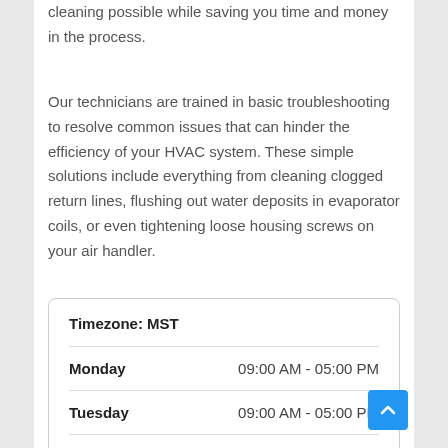cleaning possible while saving you time and money in the process.
Our technicians are trained in basic troubleshooting to resolve common issues that can hinder the efficiency of your HVAC system. These simple solutions include everything from cleaning clogged return lines, flushing out water deposits in evaporator coils, or even tightening loose housing screws on your air handler.
| Day | Hours |
| --- | --- |
| Monday | 09:00 AM - 05:00 PM |
| Tuesday | 09:00 AM - 05:00 PM |
| Wednesday | 09:00 AM - 05:00 PM |